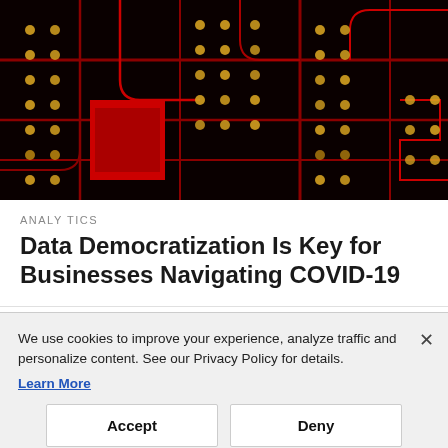[Figure (photo): Close-up photograph of a red and black circuit board with glowing solder points and red copper traces, dark background]
ANALYTICS
Data Democratization Is Key for Businesses Navigating COVID-19
EDITORIAL
We use cookies to improve your experience, analyze traffic and personalize content. See our Privacy Policy for details. Learn More
Accept
Deny